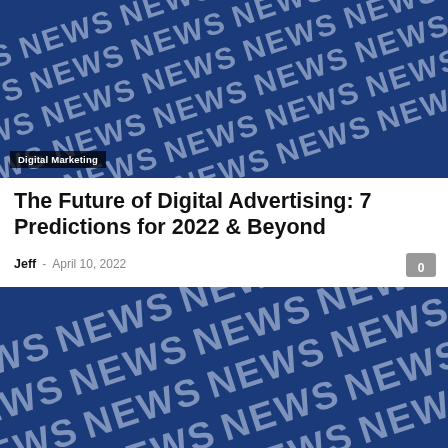[Figure (photo): Blue background with white 'NEWS' text repeated in diagonal pattern, with 'Digital Marketing' category tag in bottom left corner]
Digital Marketing
The Future of Digital Advertising: 7 Predictions for 2022 & Beyond
Jeff  -  April 10, 2022
[Figure (photo): Blue background with white 'NEWS' text repeated in diagonal pattern, larger/closer view]